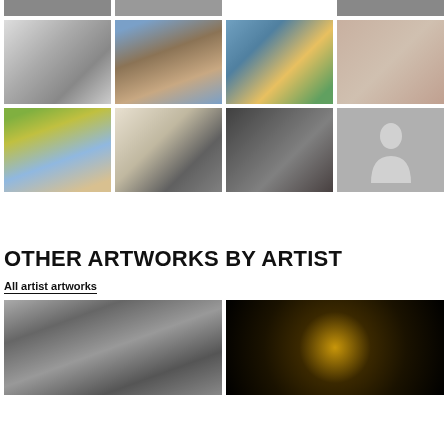[Figure (photo): Grid of artist profile photos - partial top row with 3 visible photos (black and white portraits)]
[Figure (photo): Row of 4 artist profile photos: black and white couple outdoors, man with dog in blue shirt, group of people outdoors, close-up face of woman]
[Figure (photo): Row of 4 artist profile photos: person with sunglasses outdoors, man in front of 'I was just thinking' sign, woman with red hair in black jacket, gray silhouette placeholder]
OTHER ARTWORKS BY ARTIST
All artist artworks
[Figure (photo): Black and white photo of sculptural figures]
[Figure (photo): Dark radial abstract photo with gold/amber light burst in center]